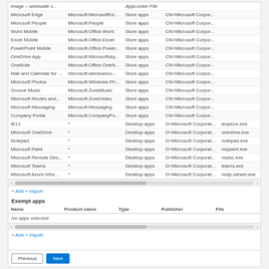| Name | Product name | Type | Publisher | File |
| --- | --- | --- | --- | --- |
| Microsoft Edge | Microsoft.MicrosoftEd... | Store apps | CN=Microsoft Corpor... |  |
| Microsoft People | Microsoft.People | Store apps | CN=Microsoft Corpor... |  |
| Word Mobile | Microsoft.Office.Word | Store apps | CN=Microsoft Corpor... |  |
| Excel Mobile | Microsoft.Office.Excel | Store apps | CN=Microsoft Corpor... |  |
| PowerPoint Mobile | Microsoft.Office.Power... | Store apps | CN=Microsoft Corpor... |  |
| OneDrive App | Microsoft.Microsoftsky... | Store apps | CN=Microsoft Corpor... |  |
| OneNote | Microsoft.Office.OneN... | Store apps | CN=Microsoft Corpor... |  |
| Mail and Calendar for ... | microsoft.windowsco... | Store apps | CN=Microsoft Corpor... |  |
| Microsoft Photos | Microsoft.Windows.Ph... | Store apps | CN=Microsoft Corpor... |  |
| Groove Music | Microsoft.ZuneMusic | Store apps | CN=Microsoft Corpor... |  |
| Microsoft Movies and... | Microsoft.ZuneVideo | Store apps | CN=Microsoft Corpor... |  |
| Microsoft Messaging | Microsoft.Messaging | Store apps | CN=Microsoft Corpor... |  |
| Company Portal | Microsoft.CompanyPo... | Store apps | CN=Microsoft Corpor... |  |
| IE11 | * | Desktop apps | O=Microsoft Corporat... | iexplore.exe |
| Microsoft OneDrive | * | Desktop apps | O=Microsoft Corporat... | onedrive.exe |
| Notepad | * | Desktop apps | O=Microsoft Corporat... | notepad.exe |
| Microsoft Paint | * | Desktop apps | O=Microsoft Corporat... | mspaint.exe |
| Microsoft Remote Des... | * | Desktop apps | O=Microsoft Corporat... | mstsc.exe |
| Microsoft Teams | * | Desktop apps | O=Microsoft Corporat... | teams.exe |
| Microsoft Azure Infor... | * | Desktop apps | O=Microsoft Corporat... | msip.viewer.exe |
+ Add + Import
Exempt apps
| Name | Product name | Type | Publisher | File |
| --- | --- | --- | --- | --- |
| No apps selected. |  |  |  |  |
+ Add + Import
Previous
Next